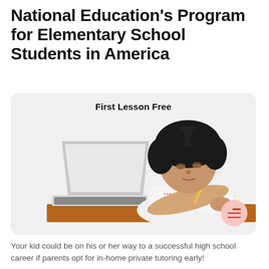National Education's Program for Elementary School Students in America
[Figure (photo): A young woman with curly dark hair studying at a desk with an open laptop and notebook, writing with a pen. The image is inside a rounded rectangle card with a light gray background. Text 'First Lesson Free' appears at the top of the card.]
Your kid could be on his or her way to a successful high school career if parents opt for in-home private tutoring early!